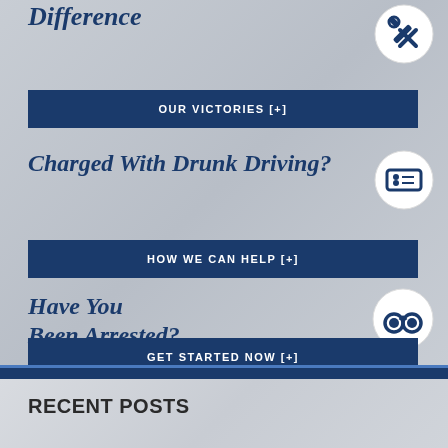Difference
OUR VICTORIES [+]
Charged With Drunk Driving?
HOW WE CAN HELP [+]
Have You Been Arrested?
GET STARTED NOW [+]
RECENT POSTS